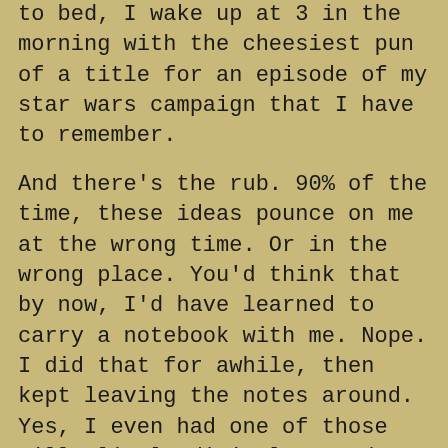to bed, I wake up at 3 in the morning with the cheesiest pun of a title for an episode of my star wars campaign that I have to remember.
And there's the rub. 90% of the time, these ideas pounce on me at the wrong time. Or in the wrong place. You'd think that by now, I'd have learned to carry a notebook with me. Nope. I did that for awhile, then kept leaving the notes around. Yes, I even had one of those silly little digital recorders with me in the car for awhile. Couldn't stand talking to the thing. Like most people, I hate the sound of my own voice. Plus I found that the batteries were always dead when I actually did try to use the thing.